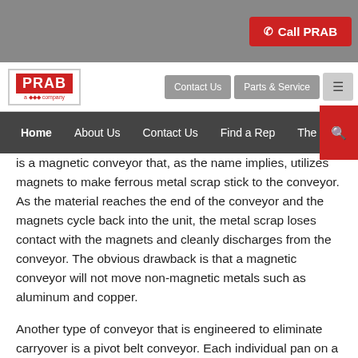Call PRAB
[Figure (logo): PRAB company logo with red background and subsidiary text]
Contact Us | Parts & Service | menu icon
Home | About Us | Contact Us | Find a Rep | The P... | search
is a magnetic conveyor that, as the name implies, utilizes magnets to make ferrous metal scrap stick to the conveyor. As the material reaches the end of the conveyor and the magnets cycle back into the unit, the metal scrap loses contact with the magnets and cleanly discharges from the conveyor. The obvious drawback is that a magnetic conveyor will not move non-magnetic metals such as aluminum and copper.
Another type of conveyor that is engineered to eliminate carryover is a pivot belt conveyor. Each individual pan on a pivot belt conveyor is hinged on one side. As the pans move from the feed area toward the discharge chute, the surface of the pan containing the scrap faces up. When